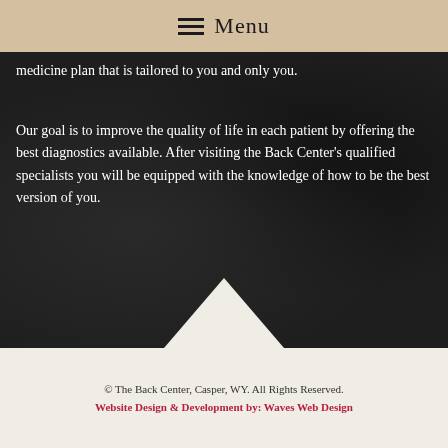Menu
medicine plan that is tailored to you and only you.
Our goal is to improve the quality of life in each patient by offering the best diagnostics available. After visiting the Back Center's qualified specialists you will be equipped with the knowledge of how to be the best version of you.
© The Back Center, Casper, WY. All Rights Reserved.
Website Design & Development by: Waves Web Design